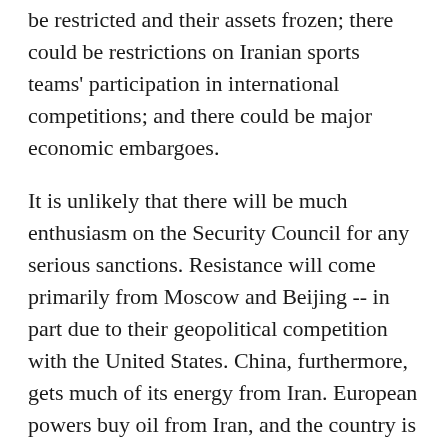be restricted and their assets frozen; there could be restrictions on Iranian sports teams' participation in international competitions; and there could be major economic embargoes.
It is unlikely that there will be much enthusiasm on the Security Council for any serious sanctions. Resistance will come primarily from Moscow and Beijing -- in part due to their geopolitical competition with the United States. China, furthermore, gets much of its energy from Iran. European powers buy oil from Iran, and the country is a significant market for European goods.
There is concern that Iran would respond to sanctions by restricting oil exports. Indeed, Iran accounts for some 10 percent of global oil reserves